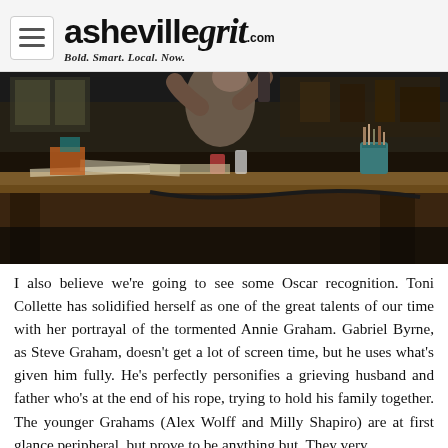asheville grit .com — Bold. Smart. Local. Now.
[Figure (photo): Person working at a cluttered wooden workbench in a workshop or studio, handling tools. Various supplies visible on the table.]
I also believe we're going to see some Oscar recognition. Toni Collette has solidified herself as one of the great talents of our time with her portrayal of the tormented Annie Graham. Gabriel Byrne, as Steve Graham, doesn't get a lot of screen time, but he uses what's given him fully. He's perfectly personifies a grieving husband and father who's at the end of his rope, trying to hold his family together. The younger Grahams (Alex Wolff and Milly Shapiro) are at first glance peripheral, but prove to be anything but. They very